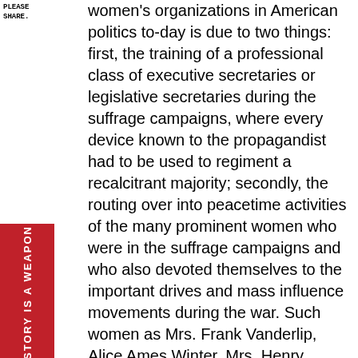PLEASE SHARE.
women's organizations in American politics to-day is due to two things: first, the training of a professional class of executive secretaries or legislative secretaries during the suffrage campaigns, where every device known to the propagandist had to be used to regiment a recalcitrant majority; secondly, the routing over into peacetime activities of the many prominent women who were in the suffrage campaigns and who also devoted themselves to the important drives and mass influence movements during the war. Such women as Mrs. Frank Vanderlip, Alice Ames Winter, Mrs. Henry Moskowitz, Mrs. Florence Kelley, Mrs. John Blair, Mrs. O. H. P. Belmont, Doris Stevens, Alice Paul come to mind.

If I have seemed to concentrate on the accomplishments of women in politics, it is because they afford a particularly striking example of intelligent use of the new propaganda to secure attention and acceptance of
[Figure (other): Red vertical sidebar banner with white bold text reading 'HISTORY IS A WEAPON' rotated vertically]